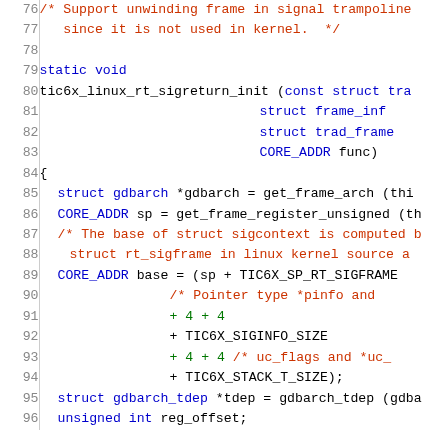[Figure (screenshot): Source code listing in C showing lines 76-96 of a GDB target file for TIC6X Linux signal return frame unwinding, with line numbers on the left and syntax-highlighted code on the right.]